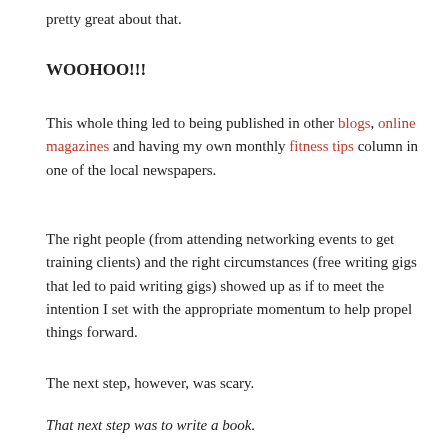pretty great about that.
WOOHOO!!!
This whole thing led to being published in other blogs, online magazines and having my own monthly fitness tips column in one of the local newspapers.
The right people (from attending networking events to get training clients) and the right circumstances (free writing gigs that led to paid writing gigs) showed up as if to meet the intention I set with the appropriate momentum to help propel things forward.
The next step, however, was scary.
That next step was to write a book.